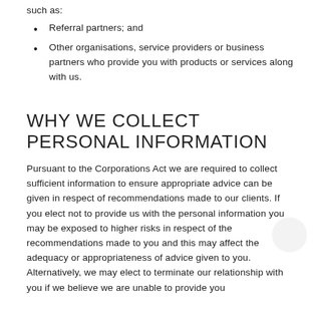such as:
Referral partners; and
Other organisations, service providers or business partners who provide you with products or services along with us.
WHY WE COLLECT PERSONAL INFORMATION
Pursuant to the Corporations Act we are required to collect sufficient information to ensure appropriate advice can be given in respect of recommendations made to our clients. If you elect not to provide us with the personal information you may be exposed to higher risks in respect of the recommendations made to you and this may affect the adequacy or appropriateness of advice given to you. Alternatively, we may elect to terminate our relationship with you if we believe we are unable to provide you